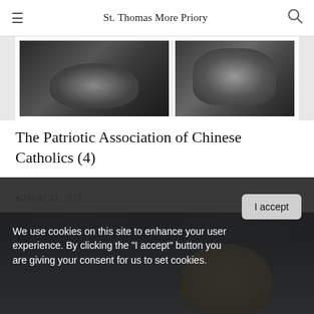St. Thomas More Priory
[Figure (photo): Two black-and-white photos side by side of men in suits, partially cropped]
The Patriotic Association of Chinese Catholics (4)
AUGUST 11, 2022
[Figure (photo): Partial photo of people, including a person in a headscarf, in a building with large windows]
We use cookies on this site to enhance your user experience. By clicking the "I accept" button you are giving your consent for us to set cookies.